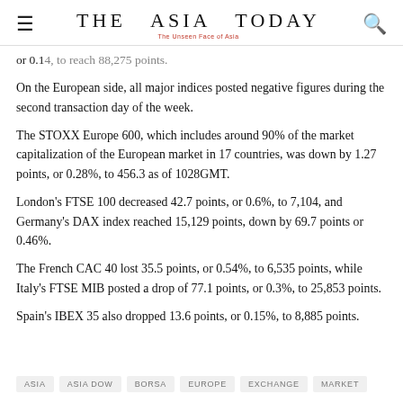THE ASIA TODAY — The Unseen Face of Asia
or 0.14, to reach 88,275 points.
On the European side, all major indices posted negative figures during the second transaction day of the week.
The STOXX Europe 600, which includes around 90% of the market capitalization of the European market in 17 countries, was down by 1.27 points, or 0.28%, to 456.3 as of 1028GMT.
London's FTSE 100 decreased 42.7 points, or 0.6%, to 7,104, and Germany's DAX index reached 15,129 points, down by 69.7 points or 0.46%.
The French CAC 40 lost 35.5 points, or 0.54%, to 6,535 points, while Italy's FTSE MIB posted a drop of 77.1 points, or 0.3%, to 25,853 points.
Spain's IBEX 35 also dropped 13.6 points, or 0.15%, to 8,885 points.
ASIA  ASIA DOW  BORSA  EUROPE  EXCHANGE  MARKET